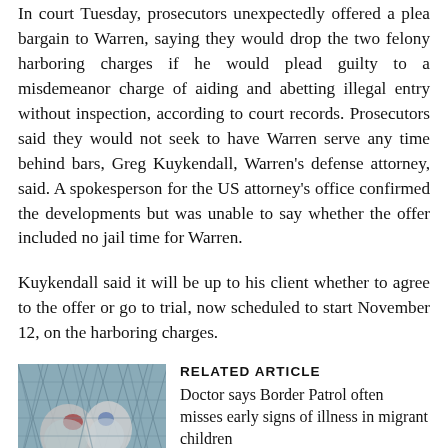In court Tuesday, prosecutors unexpectedly offered a plea bargain to Warren, saying they would drop the two felony harboring charges if he would plead guilty to a misdemeanor charge of aiding and abetting illegal entry without inspection, according to court records. Prosecutors said they would not seek to have Warren serve any time behind bars, Greg Kuykendall, Warren's defense attorney, said. A spokesperson for the US attorney's office confirmed the developments but was unable to say whether the offer included no jail time for Warren.
Kuykendall said it will be up to his client whether to agree to the offer or go to trial, now scheduled to start November 12, on the harboring charges.
[Figure (photo): Photo of people behind a chain-link fence, wrapped in metallic emergency blankets]
RELATED ARTICLE
Doctor says Border Patrol often misses early signs of illness in migrant children